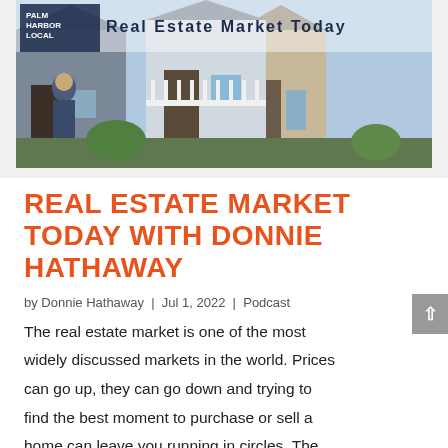[Figure (photo): Hero banner image showing a row of suburban homes with a person in a suit on the left side and the text 'Palm Harbor Local' and 'Real Estate Market Today' overlaid on the top.]
REAL ESTATE MARKET TODAY WITH DONNIE HATHAWAY
by Donnie Hathaway | Jul 1, 2022 | Podcast
The real estate market is one of the most widely discussed markets in the world. Prices can go up, they can go down and trying to find the best moment to purchase or sell a home can leave you running in circles. The truth is the best time to buy or sell all